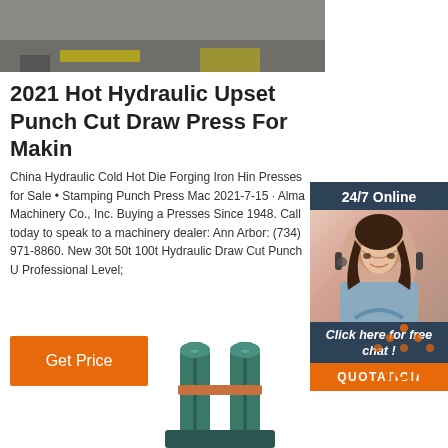[Figure (photo): Top photo showing machinery/industrial equipment on ground with yellow components]
2021 Hot Hydraulic Upset Punch Cut Draw Press For Making
China Hydraulic Cold Hot Die Forging Iron Hin Presses for Sale • Stamping Punch Press Mac 2021-7-15 · Alma Machinery Co., Inc. Buying Presses Since 1948. Call today to speak to a machinery dealer: Ann Arbor: (734) 971-8860. New 30t 50t 100t Hydraulic Draw Cut Punch U Professional Level;
[Figure (photo): Sidebar with 24/7 Online chat agent photo, woman with headset smiling]
Get Price
[Figure (logo): TOP icon with orange dots arranged in triangle and TOP text]
[Figure (photo): Bottom photo of green/teal hydraulic press machine equipment]